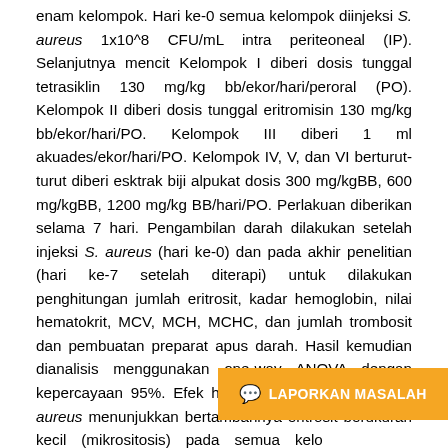enam kelompok. Hari ke-0 semua kelompok diinjeksi S. aureus 1x10^8 CFU/mL intra periteoneal (IP). Selanjutnya mencit Kelompok I diberi dosis tunggal tetrasiklin 130 mg/kg bb/ekor/hari/peroral (PO). Kelompok II diberi dosis tunggal eritromisin 130 mg/kg bb/ekor/hari/PO. Kelompok III diberi 1 ml akuades/ekor/hari/PO. Kelompok IV, V, dan VI berturut-turut diberi esktrak biji alpukat dosis 300 mg/kgBB, 600 mg/kgBB, 1200 mg/kg BB/hari/PO. Perlakuan diberikan selama 7 hari. Pengambilan darah dilakukan setelah injeksi S. aureus (hari ke-0) dan pada akhir penelitian (hari ke-7 setelah diterapi) untuk dilakukan penghitungan jumlah eritrosit, kadar hemoglobin, nilai hematokrit, MCV, MCH, MCHC, dan jumlah trombosit dan pembuatan preparat apus darah. Hasil kemudian dianalisis menggunakan one-way ANOVA dengan kepercayaan 95%. Efek hematologi karena injeksi S. aureus menunjukkan bertambahnya eritrosit berukuran kecil (mikrositosis) pada semua kelo menunjukkan keadaan mikrositosis permulaan anemia. Analisis statistik menunjukkan hasil tidak
[Figure (other): Orange button overlay with speech bubble icon and text 'LAPORKAN MASALAH']